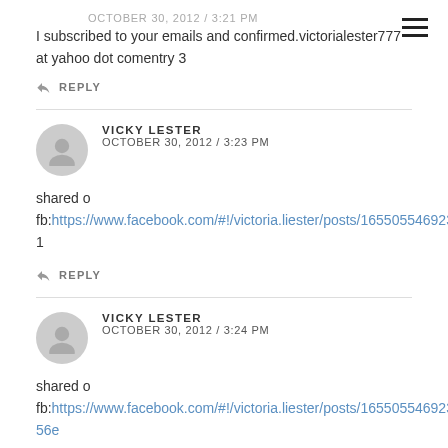OCTOBER 30, 2012 / 3:21 PM
I subscribed to your emails and confirmed.victorialester777 at yahoo dot comentry 3
REPLY
VICKY LESTER
OCTOBER 30, 2012 / 3:23 PM
shared o
fb:https://www.facebook.com/#!/victoria.liester/posts/165505546923556entry 1
REPLY
VICKY LESTER
OCTOBER 30, 2012 / 3:24 PM
shared o
fb:https://www.facebook.com/#!/victoria.liester/posts/165505546923556e...